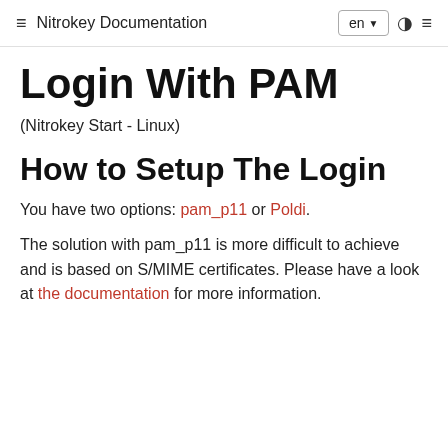≡  Nitrokey Documentation  [en ▾]  ◑  ≡
Login With PAM
(Nitrokey Start - Linux)
How to Setup The Login
You have two options: pam_p11 or Poldi.
The solution with pam_p11 is more difficult to achieve and is based on S/MIME certificates. Please have a look at the documentation for more information.